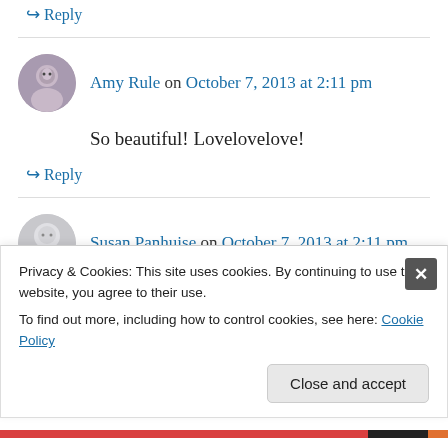↪ Reply
Amy Rule on October 7, 2013 at 2:11 pm
So beautiful! Lovelovelove!
↪ Reply
Susan Panhuise on October 7, 2013 at 2:11 pm
Beautiful bracelet. I would wear it proudly.
Privacy & Cookies: This site uses cookies. By continuing to use this website, you agree to their use.
To find out more, including how to control cookies, see here: Cookie Policy
Close and accept